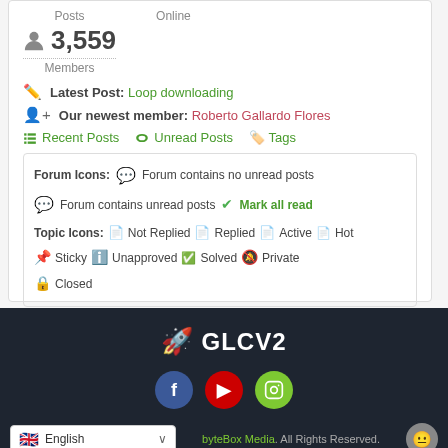Posts | Online
3,559 Members
Latest Post: Loop downloading
Our newest member: Roberto Gallardo Flores
Recent Posts | Unread Posts | Tags
Forum Icons: Forum contains no unread posts | Forum contains unread posts | Mark all read
Topic Icons: Not Replied | Replied | Active | Hot | Sticky | Unapproved | Solved | Private | Closed
GLCV2
byteBox Media. All Rights Reserved.
English